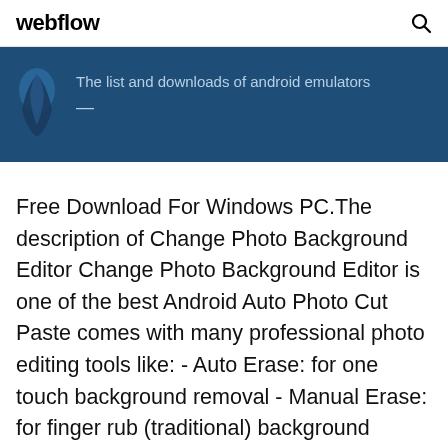webflow
[Figure (screenshot): Dark blue banner with an Android app icon on the left (blue flame/figure) and text reading 'The list and downloads of android emulators']
Free Download For Windows PC.The description of Change Photo Background Editor Change Photo Background Editor is one of the best Android Auto Photo Cut Paste comes with many professional photo editing tools like: - Auto Erase: for one touch background removal - Manual Erase: for finger rub (traditional) background